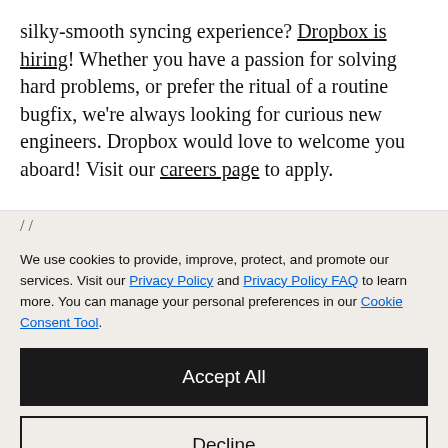silky-smooth syncing experience? Dropbox is hiring! Whether you have a passion for solving hard problems, or prefer the ritual of a routine bugfix, we're always looking for curious new engineers. Dropbox would love to welcome you aboard! Visit our careers page to apply.
/ /
We use cookies to provide, improve, protect, and promote our services. Visit our Privacy Policy and Privacy Policy FAQ to learn more. You can manage your personal preferences in our Cookie Consent Tool.
Accept All
Decline